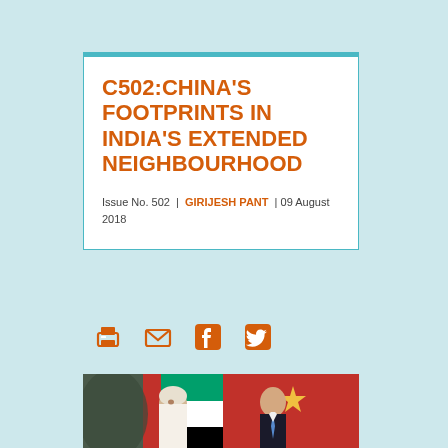C502:CHINA'S FOOTPRINTS IN INDIA'S EXTENDED NEIGHBOURHOOD
Issue No. 502 | GIRIJESH PANT | 09 August 2018
[Figure (infographic): Social sharing icons: print, email, Facebook, Twitter in orange]
[Figure (photo): Photo of two officials in a formal meeting, with UAE and Chinese flags in the background]